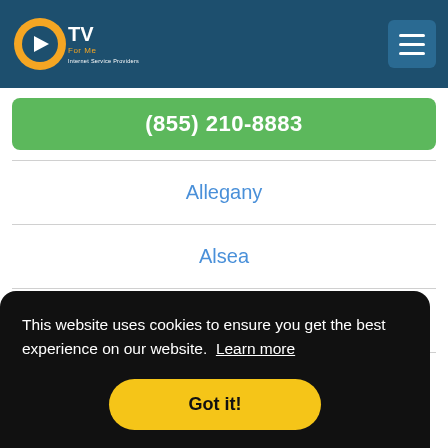[Figure (logo): CTVForMe Internet Service Providers logo with orange C and play button icon, white TV For Me text]
(855) 210-8883
Allegany
Alsea
Alvadore
This website uses cookies to ensure you get the best experience on our website. Learn more
Got it!
Arock